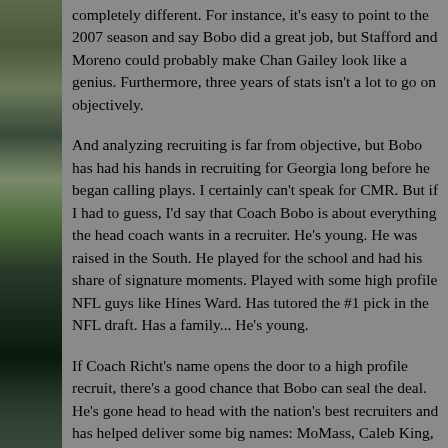completely different. For instance, it's easy to point to the 2007 season and say Bobo did a great job, but Stafford and Moreno could probably make Chan Gailey look like a genius. Furthermore, three years of stats isn't a lot to go on objectively.
And analyzing recruiting is far from objective, but Bobo has had his hands in recruiting for Georgia long before he began calling plays. I certainly can't speak for CMR. But if I had to guess, I'd say that Coach Bobo is about everything the head coach wants in a recruiter. He's young. He was raised in the South. He played for the school and had his share of signature moments. Played with some high profile NFL guys like Hines Ward. Has tutored the #1 pick in the NFL draft. Has a family... He's young.
If Coach Richt's name opens the door to a high profile recruit, there's a good chance that Bobo can seal the deal. He's gone head to head with the nation's best recruiters and has helped deliver some big names: MoMass, Caleb King, Rennie Curran, Richard Samuel, Marlon Brown and all of the QBs including Sta...
Quite simply, Bobo is a force to be reckoned with in living ro...